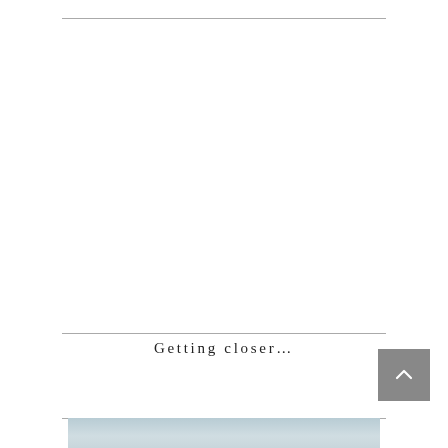Getting closer...
[Figure (photo): Partial image of a landscape or scenic photo visible at the bottom of the page]